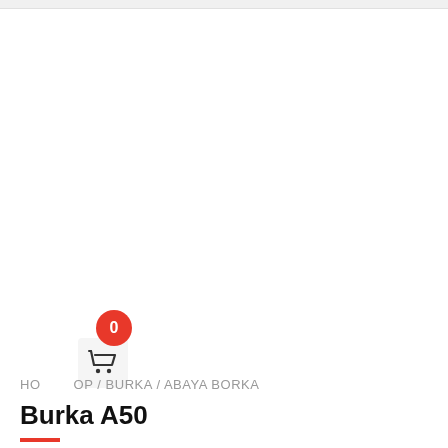[Figure (other): Shopping cart icon with red badge showing 0]
HO / OP / BURKA / ABAYA BORKA
Burka A50